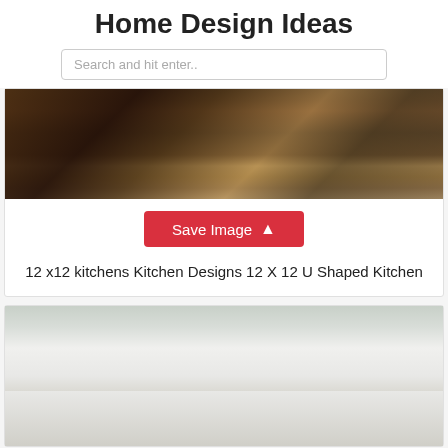Home Design Ideas
Search and hit enter..
[Figure (photo): Dark kitchen with brown cabinets, stainless steel appliances, and dark granite countertops. Shows refrigerator, stove, and counter space with glasses.]
Save Image
12 x12 kitchens Kitchen Designs 12 X 12 U Shaped Kitchen
[Figure (photo): Bright white kitchen with glass-front upper cabinets, large windows, black countertops, sink, and stainless steel appliances. Green decorative plates visible on counter.]